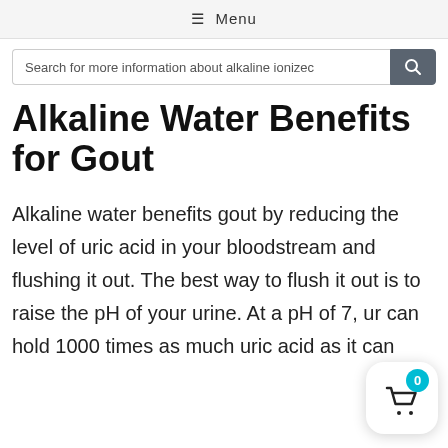≡ Menu
Search for more information about alkaline ionized
Alkaline Water Benefits for Gout
Alkaline water benefits gout by reducing the level of uric acid in your bloodstream and flushing it out. The best way to flush it out is to raise the pH of your urine. At a pH of 7, ur can hold 1000 times as much uric acid as it can